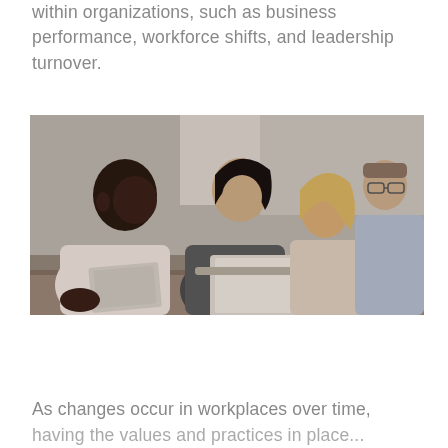within organizations, such as business performance, workforce shifts, and leadership turnover.
[Figure (photo): Four people in a workplace setting gathered around a table with a laptop. A Black man and an Asian woman on the left are looking at a tablet together, while a blonde woman and a man with glasses work in the background.]
As changes occur in workplaces over time, having the values and practices in place...